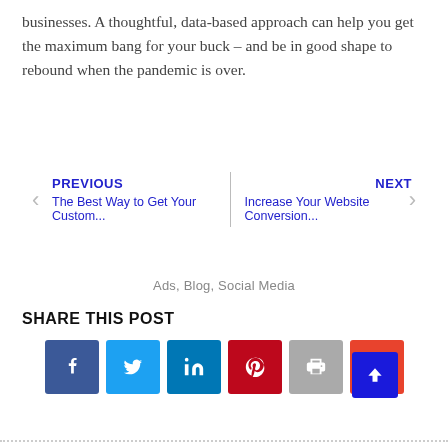businesses. A thoughtful, data-based approach can help you get the maximum bang for your buck – and be in good shape to rebound when the pandemic is over.
‹ PREVIOUS
The Best Way to Get Your Custom...    NEXT ›
Increase Your Website Conversion...
Ads, Blog, Social Media
SHARE THIS POST
[Figure (infographic): Row of social sharing buttons: Facebook (dark blue), Twitter (light blue), LinkedIn (blue), Pinterest (red), Print (gray), Email (orange-red). A scroll-to-top button (dark blue with up arrow) overlaps the last button.]